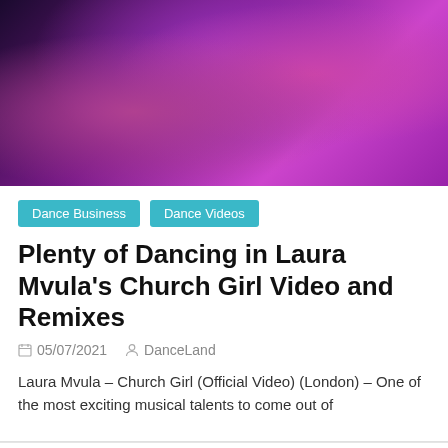[Figure (photo): Music video still showing group of people against purple/magenta lit background, woman in center wearing ornate white beaded costume]
Dance Business
Dance Videos
Plenty of Dancing in Laura Mvula's Church Girl Video and Remixes
05/07/2021   DanceLand
Laura Mvula – Church Girl (Official Video) (London) – One of the most exciting musical talents to come out of
[Figure (photo): Small thumbnail image, dark toned photo]
Kinetic Light Premieres One + One